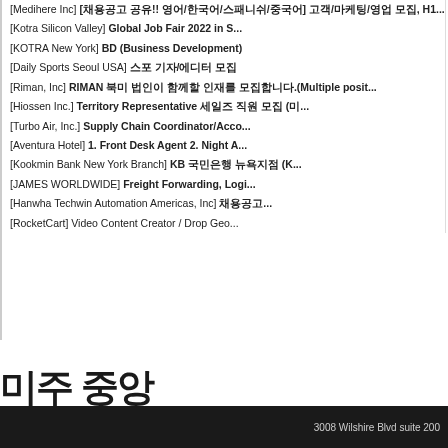[Medihere Inc] [채용공고 공유!! 영어/한국어/스패니쉬/중국어] 고객/마케팅/영업 모집, H1...
[Kotra Silicon Valley] Global Job Fair 2022 in S...
[KOTRA New York] BD (Business Development)
[Daily Sports Seoul USA] 스포 기자/에디터 모집
[Riman, Inc] RIMAN 북미 법인이 함께할 인재를 모집합니다.(Multiple posit...
[Hiossen Inc.] Territory Representative 세일즈 직원 모집 (미...
[Turbo Air, Inc.] Supply Chain Coordinator/Acco...
[Aventura Hotel] 1. Front Desk Agent 2. Night A...
[Kookmin Bank New York Branch] KB 국민은행 뉴욕지점 (K...
[JAMES WORLDWIDE] Freight Forwarding, Logi...
[Hanwha Techwin Automation Americas, Inc] 채용공고...
[RocketCart] Video Content Creator / Drop Geo...
[KBTV Korea Broad...
[Dream Internationa...
[Lotte Intl America ...
[KOTRA Los Angele...
[NJC Logistics, Inc....
[Hwashin America ...
[K Biz Insurance Ag...
[NMSI, INC.] Multip...
[CHA Health System...
[Allmerits Financial...
[Exbon Developmen...
[Job Korea USA, I...
3008 Wilshire Blvd suite 200